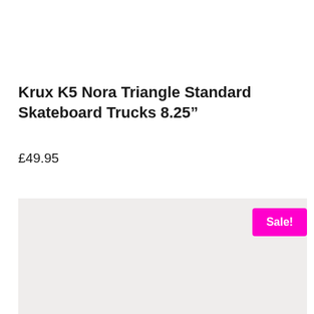Krux K5 Nora Triangle Standard Skateboard Trucks 8.25”
£49.95
[Figure (photo): Product image area showing a light beige/grey background with a Sale! badge in magenta/pink in the upper right corner.]